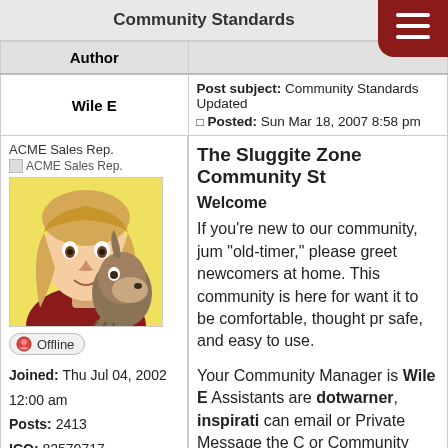Community Standards
| Author |  |
| --- | --- |
| Wile E | Post subject: Community Standards Updated
Posted: Sun Mar 18, 2007 8:58 pm |
| ACME Sales Rep.
[ACME Sales Rep.]
[avatar image]
[Offline]
Joined: Thu Jul 04, 2002 12:00 am
Posts: 2413
ICQ: 82570717
WLM: DesertSongDog
AOL: DesertSongDog
Location: Here | The Sluggite Zone Community St...

Welcome
If you're new to our community, jum... "old-timer," please greet newcomers... at home. This community is here for... want it to be comfortable, thought pr... safe, and easy to use.

Your Community Manager is Wile E... Assistants are dotwarner, inspirati... can email or Private Message the C... or Community Assistants any time y... or concern. |